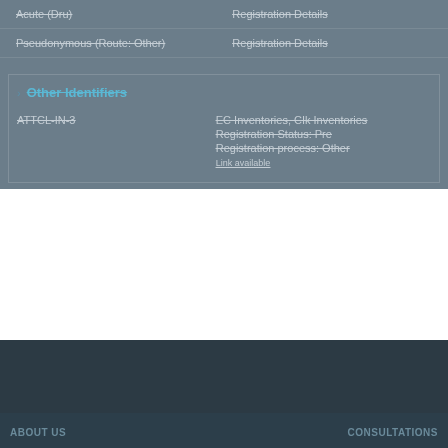Acute (Dru)
Registration Details
Pseudonymous (Route: Other)
Registration Details
Other Identifiers
ATTCL-IN-3
EC Inventories, CIk Inventories
Registration Status: Pre
Registration process: Other
Link available
ABOUT US    CONSULTATIONS